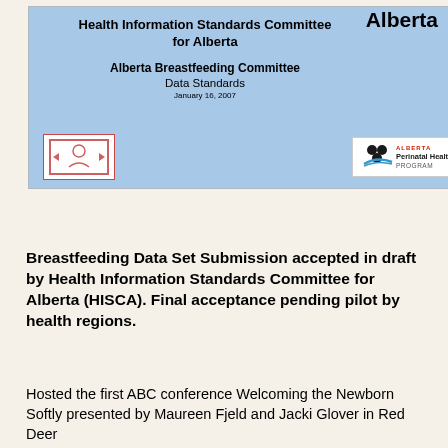[Figure (screenshot): Slide thumbnail showing Health Information Standards Committee for Alberta / Alberta Breastfeeding Committee / Data Standards / January 16, 2007 with logos]
Alberta
Breastfeeding Data Set Submission accepted in draft by Health Information Standards Committee for Alberta (HISCA). Final acceptance pending pilot by health regions.
Hosted the first ABC conference Welcoming the Newborn Softly presented by Maureen Fjeld and Jacki Glover in Red Deer